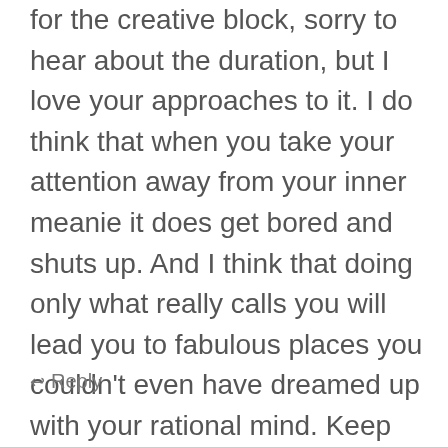for the creative block, sorry to hear about the duration, but I love your approaches to it. I do think that when you take your attention away from your inner meanie it does get bored and shuts up. And I think that doing only what really calls you will lead you to fabulous places you couldn't even have dreamed up with your rational mind. Keep going. And keep breathing!
↩ Reply